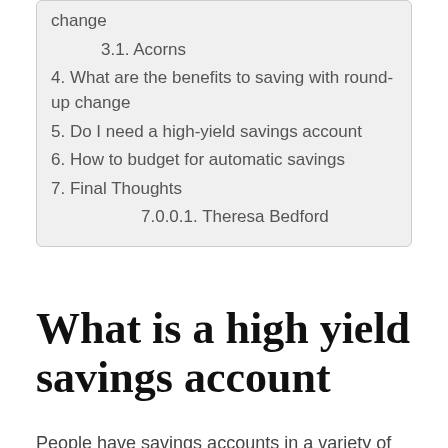change
3.1. Acorns
4. What are the benefits to saving with round-up change
5. Do I need a high-yield savings account
6. How to budget for automatic savings
7. Final Thoughts
7.0.0.1.  Theresa Bedford
What is a high yield savings account
People have savings accounts in a variety of forms. While some do so the in a